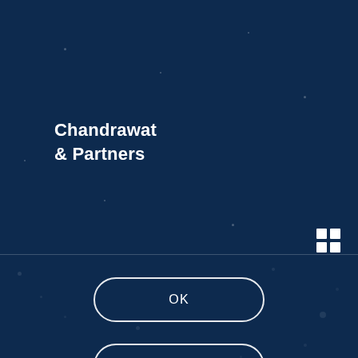[Figure (logo): Chandrawat & Partners law firm logo in white text on dark navy background]
[Figure (other): 2x2 grid icon in white, top-right area]
OK
LEARN MORE